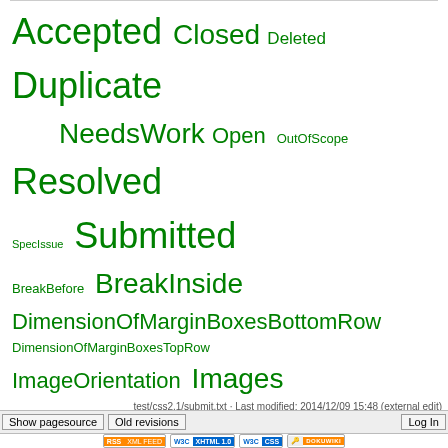[Figure (other): Tag cloud with status and group filter terms in varying green font sizes: Accepted, Closed, Deleted, Duplicate, NeedsWork, Open, OutOfScope, Resolved, SpecIssue, Submitted, BreakBefore, BreakInside, DimensionOfMarginBoxesBottomRow, DimensionOfMarginBoxesTopRow, ImageOrientation, Images, MarginBoxes, Orphans, PageBreaks, PageProperties, PageSize, Widows]
Filtered by status=Resolved & group=PageProperties
Show all (remove filter/sort)
| Submission | Status | Authors | Groups | ↑ URL |
| --- | --- | --- | --- | --- |
| Nothing found |  |  |  |  |
test/css2.1/submit.txt · Last modified: 2014/12/09 15:48 (external edit)